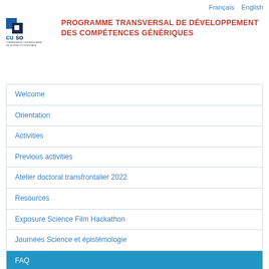Français  English
[Figure (logo): CUSO - Conférence Universitaire de Suisse Occidentale logo with blue and dark square graphic]
PROGRAMME TRANSVERSAL DE DÉVELOPPEMENT DES COMPÉTENCES GÉNÉRIQUES
Welcome
Orientation
Activities
Previous activities
Atelier doctoral transfrontalier 2022
Resources
Exposure Science Film Hackathon
Journées Science et épistémologie
FAQ